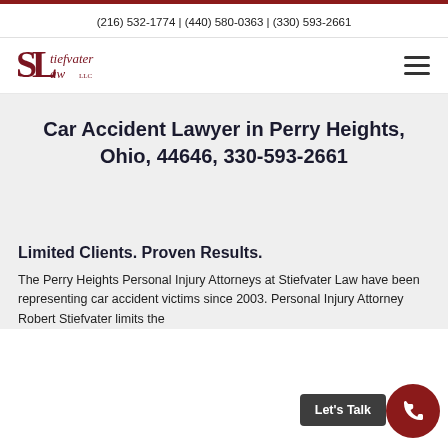(216) 532-1774 | (440) 580-0363 | (330) 593-2661
[Figure (logo): Stiefvater Law LLC logo with stylized S and L initials in dark red/maroon, with serif text reading 'tiefvater Law LLC']
Car Accident Lawyer in Perry Heights, Ohio, 44646, 330-593-2661
Limited Clients. Proven Results.
The Perry Heights Personal Injury Attorneys at Stiefvater Law have been representing car accident victims since 2003. Personal Injury Attorney Robert Stiefvater limits the